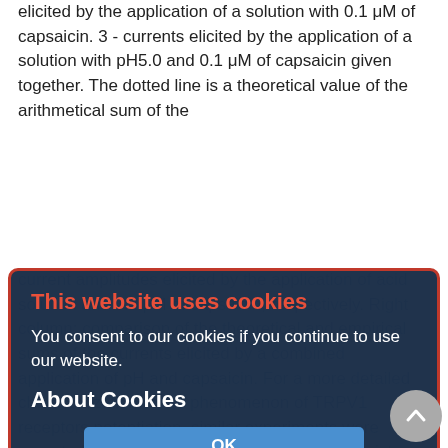elicited by the application of a solution with 0.1 μM of capsaicin. 3 - currents elicited by the application of a solution with pH5.0 and 0.1 μM of capsaicin given together. The dotted line is a theoretical value of the arithmetical sum of the
[Figure (screenshot): Cookie consent popup overlay with dark navy background and orange-red border. Contains title 'This website uses cookies' in red/orange, body text 'You consent to our cookies if you continue to use our website.' in white, 'About Cookies' heading in white, and a blue 'OK' button.]
range of capsaicin concentration varied from 0.1 to 10 μM; and pH levels, from 5.5 to 7.0. The ratio of the amplitude of the current elicited after a combined application of the agonists (I(pH+Cap))